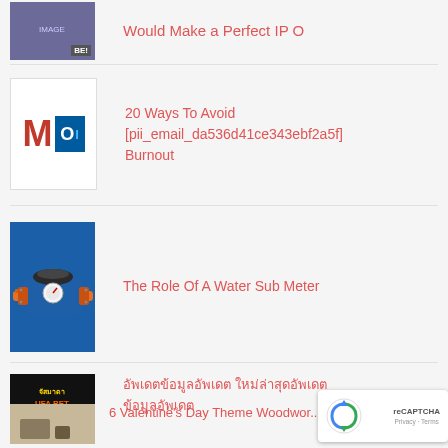Would Make a Perfect IP O [partial, clipped at top]
20 Ways To Avoid [pii_email_da536d41ce343ebf2a5f] Burnout
The Role Of A Water Sub Meter
อัพเดตข้อมูลอัพเดต ใหม่ล่าสุดอัพเดต ข้อมูลอัพเดต
6 Valentine's Day Theme Woodwork Projects [partial]
[Figure (screenshot): reCAPTCHA badge with logo and Privacy/Terms links]